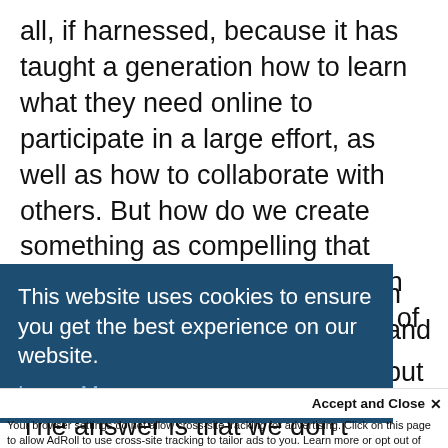all, if harnessed, because it has taught a generation how to learn what they need online to participate in a large effort, as well as how to collaborate with others. But how do we create something as compelling that teaches the skills and interest in technology needed for the jobs of the future?

The answer is that we don't compete – we
n and
put in
[Figure (screenshot): Cookie consent banner with dark blue background. Text: 'This website uses cookies to ensure you get the best experience on our website.' with a 'Learn More' link in light blue.]
Accept and Close ✕
Your browser settings do not allow cross-site tracking for advertising. Click on this page to allow AdRoll to use cross-site tracking to tailor ads to you. Learn more or opt out of this AdRoll tracking by clicking here. This message only appears once.